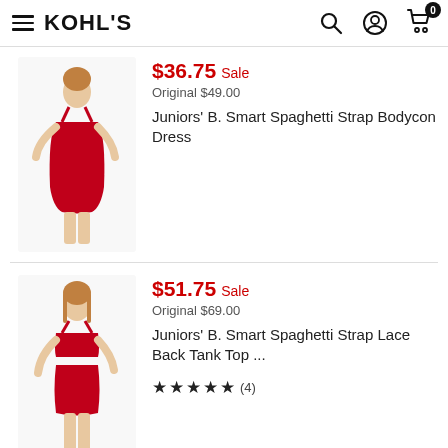Kohl's
$36.75 Sale
Original $49.00
Juniors' B. Smart Spaghetti Strap Bodycon Dress
$51.75 Sale
Original $69.00
Juniors' B. Smart Spaghetti Strap Lace Back Tank Top ...
★★★★★ (4)